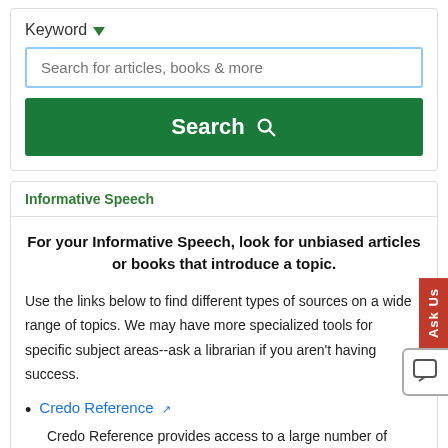[Figure (screenshot): Search interface with Keyword dropdown, text input field with placeholder 'Search for articles, books & more', and a green Search button with magnifying glass icon.]
Informative Speech
For your Informative Speech, look for unbiased articles or books that introduce a topic.
Use the links below to find different types of sources on a wide range of topics. We may have more specialized tools for specific subject areas--ask a librarian if you aren't having success.
Credo Reference
Credo Reference provides access to a large number of encyclopedias, dictionaries, thesauri and other